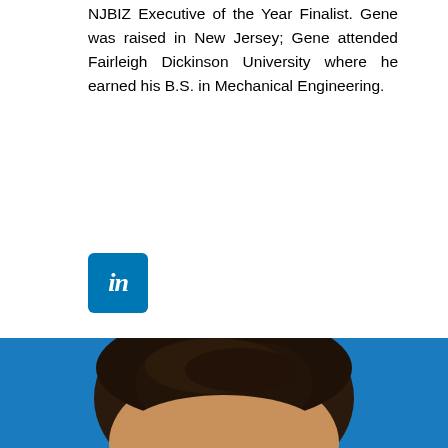NJBIZ Executive of the Year Finalist. Gene was raised in New Jersey; Gene attended Fairleigh Dickinson University where he earned his B.S. in Mechanical Engineering.
[Figure (logo): LinkedIn logo icon — blue square with rounded corners and white 'in' text]
[Figure (photo): Portrait photo of a man with dark hair against a blue background, cropped to show the top of the head]